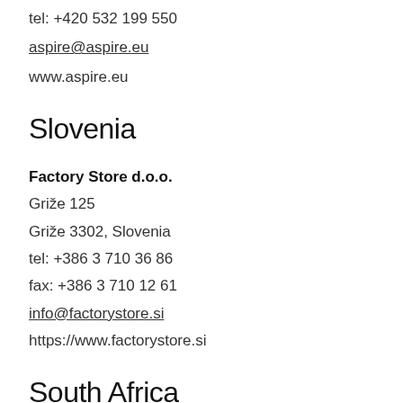tel: +420 532 199 550
aspire@aspire.eu
www.aspire.eu
Slovenia
Factory Store d.o.o.
Griže 125
Griže 3302, Slovenia
tel: +386 3 710 36 86
fax: +386 3 710 12 61
info@factorystore.si
https://www.factorystore.si
South Africa